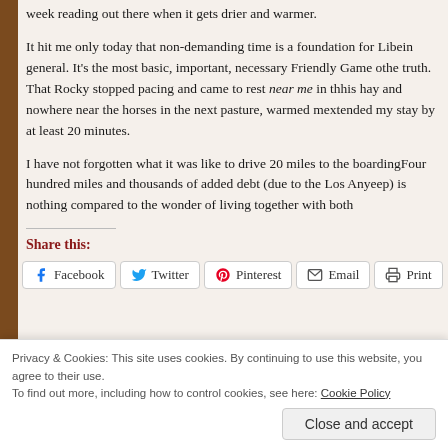week reading out there when it gets drier and warmer.
It hit me only today that non-demanding time is a foundation for Libe... in general. It's the most basic, important, necessary Friendly Game o... the truth. That Rocky stopped pacing and came to rest near me in th... his hay and nowhere near the horses in the next pasture, warmed m... extended my stay by at least 20 minutes.
I have not forgotten what it was like to drive 20 miles to the boarding... Four hundred miles and thousands of added debt (due to the Los An... yeep) is nothing compared to the wonder of living together with both...
Share this:
Facebook  Twitter  Pinterest  Email  Print
Privacy & Cookies: This site uses cookies. By continuing to use this website, you agree to their use. To find out more, including how to control cookies, see here: Cookie Policy
Close and accept